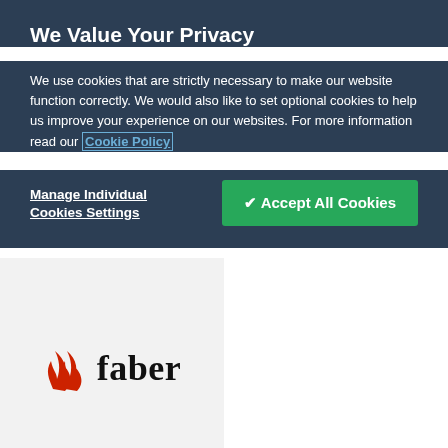We Value Your Privacy
We use cookies that are strictly necessary to make our website function correctly. We would also like to set optional cookies to help us improve your experience on our websites. For more information read our Cookie Policy
Manage Individual Cookies Settings
✔ Accept All Cookies
[Figure (logo): Faber logo with red flame icon on the left and 'faber' text in bold serif font on the right]